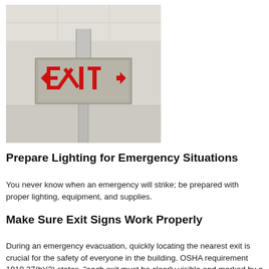[Figure (photo): Photo of an illuminated EXIT sign mounted from a ceiling, with red letters reading EXIT and red arrow indicators on each side, photographed against a light-colored ceiling background.]
Prepare Lighting for Emergency Situations
You never know when an emergency will strike; be prepared with proper lighting, equipment, and supplies.
Make Sure Exit Signs Work Properly
During an emergency evacuation, quickly locating the nearest exit is crucial for the safety of everyone in the building. OSHA requirement 1910.37(b)(2) states, "each exit must be clearly visible and marked by a sign reading Exit."